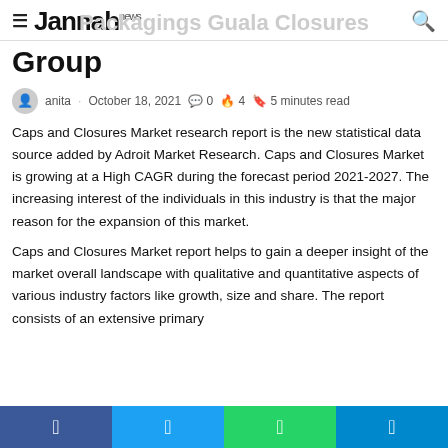Jannah news
Group
anita · October 18, 2021  0  4  5 minutes read
Caps and Closures Market research report is the new statistical data source added by Adroit Market Research. Caps and Closures Market is growing at a High CAGR during the forecast period 2021-2027. The increasing interest of the individuals in this industry is that the major reason for the expansion of this market.
Caps and Closures Market report helps to gain a deeper insight of the market overall landscape with qualitative and quantitative aspects of various industry factors like growth, size and share. The report consists of an extensive primary